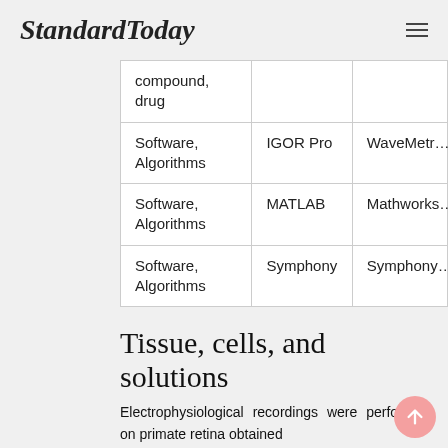StandardToday
| compound, drug |  |  |
| Software, Algorithms | IGOR Pro | WaveMetr… |
| Software, Algorithms | MATLAB | Mathworks… |
| Software, Algorithms | Symphony | Symphony… |
Tissue, cells, and solutions
Electrophysiological recordings were performed on primate retina obtained